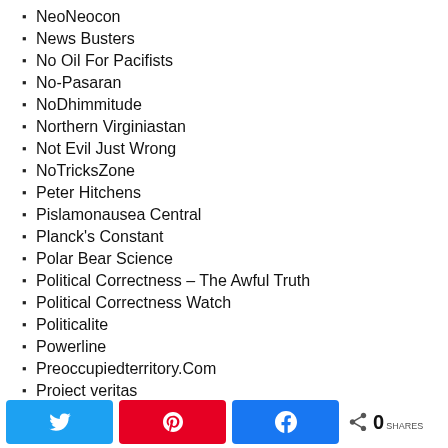NeoNeocon
News Busters
No Oil For Pacifists
No-Pasaran
NoDhimmitude
Northern Virginiastan
Not Evil Just Wrong
NoTricksZone
Peter Hitchens
Pislamonausea Central
Planck's Constant
Polar Bear Science
Political Correctness – The Awful Truth
Political Correctness Watch
Politicalite
Powerline
Preoccupiedterritory.Com
Project veritas
0 SHARES